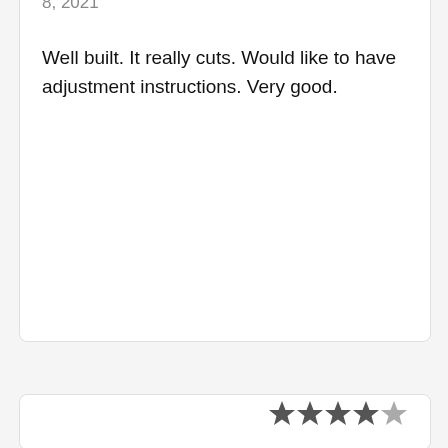8, 2021
Well built. It really cuts. Would like to have adjustment instructions. Very good.
[Figure (other): Star rating widget showing 4 out of 5 stars]